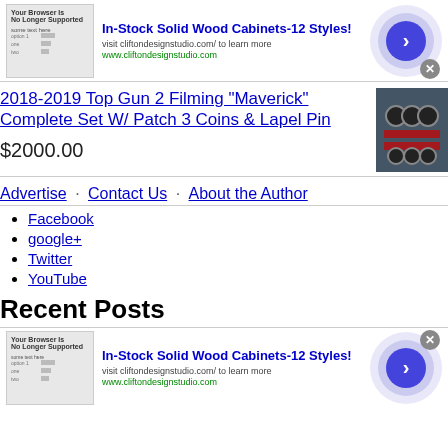[Figure (screenshot): Advertisement banner for In-Stock Solid Wood Cabinets with thumbnail, text, and circular arrow button]
2018-2019 Top Gun 2 Filming "Maverick" Complete Set W/ Patch 3 Coins & Lapel Pin
$2000.00
Advertise · Contact Us · About the Author
Facebook
google+
Twitter
YouTube
Recent Posts
[Figure (screenshot): Second advertisement banner for In-Stock Solid Wood Cabinets with thumbnail, text, and circular arrow button]